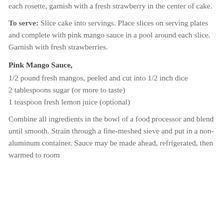each rosette, garnish with a fresh strawberry in the center of cake.
To serve: Slice cake into servings. Place slices on serving plates and complete with pink mango sauce in a pool around each slice. Garnish with fresh strawberries.
Pink Mango Sauce,
1/2 pound fresh mangos, peeled and cut into 1/2 inch dice
2 tablespoons sugar (or more to taste)
1 teaspoon fresh lemon juice (optional)
Combine all ingredients in the bowl of a food processor and blend until smooth. Strain through a fine-meshed sieve and put in a non-aluminum container. Sauce may be made ahead, refrigerated, then warmed to room